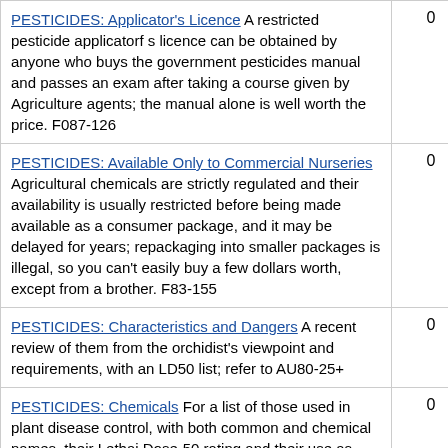| Description |  |
| --- | --- |
| PESTICIDES: Applicator's Licence A restricted pesticide applicatorf s licence can be obtained by anyone who buys the government pesticides manual and passes an exam after taking a course given by Agriculture agents; the manual alone is well worth the price. F087-126 | 0 |
| PESTICIDES: Available Only to Commercial Nurseries Agricultural chemicals are strictly regulated and their availability is usually restricted before being made available as a consumer package, and it may be delayed for years; repackaging into smaller packages is illegal, so you can't easily buy a few dollars worth, except from a brother. F83-155 | 0 |
| PESTICIDES: Characteristics and Dangers A recent review of them from the orchidist's viewpoint and requirements, with an LD50 list; refer to AU80-25+ | 0 |
| PESTICIDES: Chemicals For a list of those used in plant disease control, with both common and chemical names, their Lethai Dose-50 rating and their use as either systemics, fungicides, disinfectants, bactericides, algicides, germicides or | 0 |